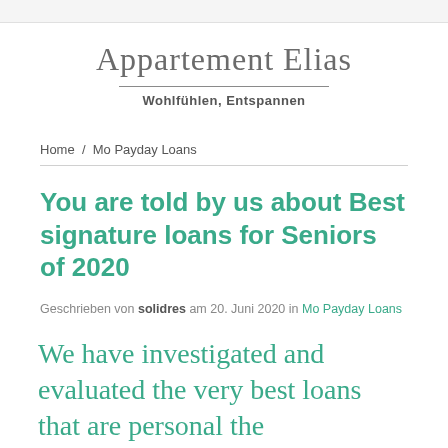Appartement Elias
Wohlfühlen, Entspannen
Home / Mo Payday Loans
You are told by us about Best signature loans for Seniors of 2020
Geschrieben von solidres am 20. Juni 2020 in Mo Payday Loans
We have investigated and evaluated the very best loans that are personal the marketplace.